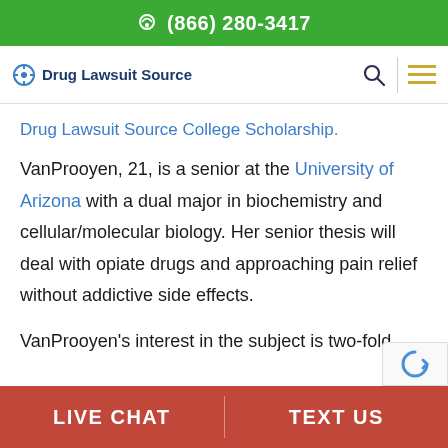(866) 280-3417
[Figure (logo): Drug Lawsuit Source logo with navigation icons (search and hamburger menu)]
Drug Lawsuit Source College Scholarship.
VanProoyen, 21, is a senior at the University of Arizona with a dual major in biochemistry and cellular/molecular biology. Her senior thesis will deal with opiate drugs and approaching pain relief without addictive side effects.
VanProoyen's interest in the subject is two-fold
LIVE CHAT   TEXT US